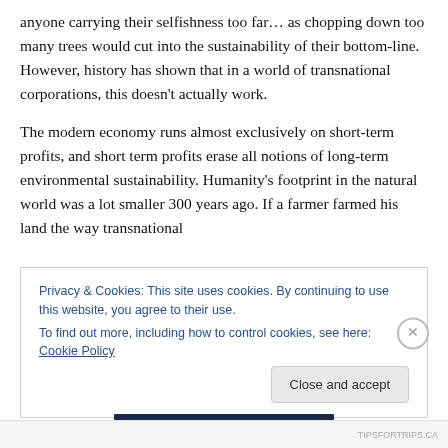anyone carrying their selfishness too far… as chopping down too many trees would cut into the sustainability of their bottom-line. However, history has shown that in a world of transnational corporations, this doesn't actually work.
The modern economy runs almost exclusively on short-term profits, and short term profits erase all notions of long-term environmental sustainability. Humanity's footprint in the natural world was a lot smaller 300 years ago. If a farmer farmed his land the way transnational
Privacy & Cookies: This site uses cookies. By continuing to use this website, you agree to their use.
To find out more, including how to control cookies, see here: Cookie Policy
Close and accept